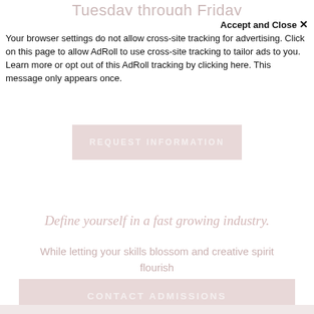Tuesday through Friday
Your browser settings do not allow cross-site tracking for advertising. Click on this page to allow AdRoll to use cross-site tracking to tailor ads to you. Learn more or opt out of this AdRoll tracking by clicking here. This message only appears once.
REQUEST INFORMATION
Define yourself in a fast growing industry.
While letting your skills blossom and creative spirit flourish
CONTACT ADMISSIONS